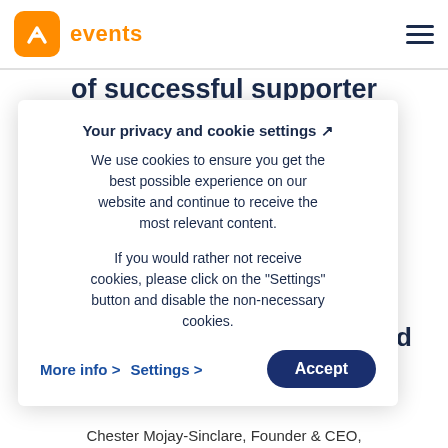events
of successful supporter
lly
rt in it.
/
gn. I
tions
ne hard
s who
Your privacy and cookie settings 🔒
We use cookies to ensure you get the best possible experience on our website and continue to receive the most relevant content.

If you would rather not receive cookies, please click on the "Settings" button and disable the non-necessary cookies.
More info >   Settings >   Accept
Chester Mojay-Sinclare, Founder & CEO,